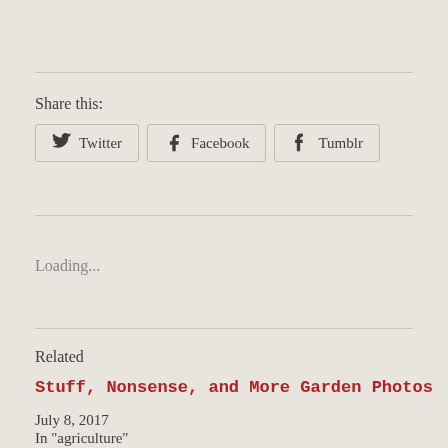Share this:
Twitter | Facebook | Tumblr
Loading...
Related
Stuff, Nonsense, and More Garden Photos
July 8, 2017
In "agriculture"